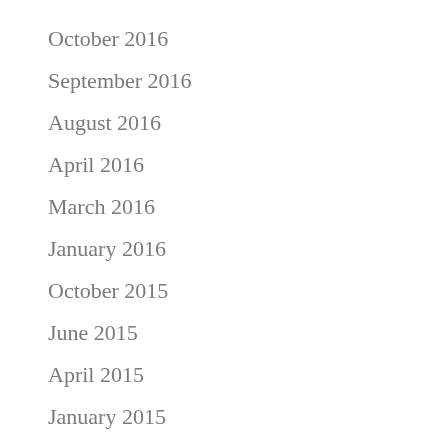October 2016
September 2016
August 2016
April 2016
March 2016
January 2016
October 2015
June 2015
April 2015
January 2015
May 2014
December 2013